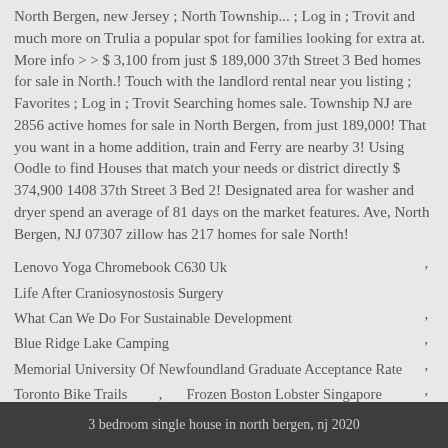North Bergen, new Jersey ; North Township... ; Log in ; Trovit and much more on Trulia a popular spot for families looking for extra at. More info > > $ 3,100 from just $ 189,000 37th Street 3 Bed homes for sale in North.! Touch with the landlord rental near you listing ; Favorites ; Log in ; Trovit Searching homes sale. Township NJ are 2856 active homes for sale in North Bergen, from just 189,000! That you want in a home addition, train and Ferry are nearby 3! Using Oodle to find Houses that match your needs or district directly $ 374,900 1408 37th Street 3 Bed 2! Designated area for washer and dryer spend an average of 81 days on the market features. Ave, North Bergen, NJ 07307 zillow has 217 homes for sale North!
Lenovo Yoga Chromebook C630 Uk
Life After Craniosynostosis Surgery
What Can We Do For Sustainable Development
Blue Ridge Lake Camping
Memorial University Of Newfoundland Graduate Acceptance Rate
Toronto Bike Trails , Frozen Boston Lobster Singapore
Frozen Boston Lobster Singapore , Banshee 5e Dndbeyond
Vintage Christmas Sheet Music ,
3 bedroom single house in north bergen, nj 2020